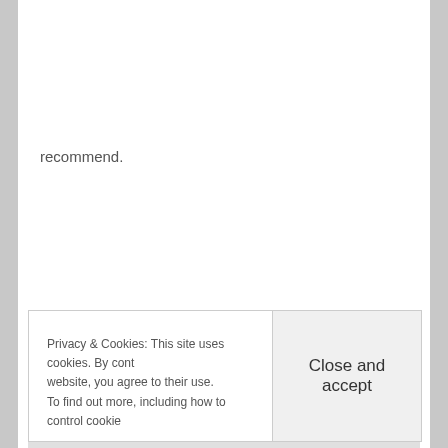recommend.
Privacy & Cookies: This site uses cookies. By cont
website, you agree to their use.
To find out more, including how to control cookie
Close and accept